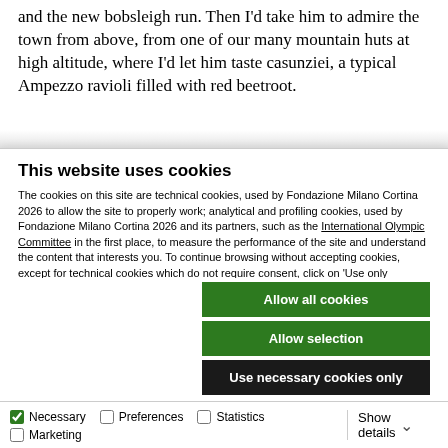and the new bobsleigh run. Then I'd take him to admire the town from above, from one of our many mountain huts at high altitude, where I'd let him taste casunziei, a typical Ampezzo ravioli filled with red beetroot.
This website uses cookies
The cookies on this site are technical cookies, used by Fondazione Milano Cortina 2026 to allow the site to properly work; analytical and profiling cookies, used by Fondazione Milano Cortina 2026 and its partners, such as the International Olympic Committee in the first place, to measure the performance of the site and understand the content that interests you. To continue browsing without accepting cookies, except for technical cookies which do not require consent, click on 'Use only technical cookies'. To accept all cookies, click 'Accept all cookies'. To manage or disable cookies click on 'Show details' and then 'Accept selected'. To change or revoke your consent at any time, go to section 5 of our Cookie Policy and select 'Change your consent'. For more information, please read our Cookie Policy.
Allow all cookies
Allow selection
Use necessary cookies only
Necessary  Preferences  Statistics  Marketing  Show details